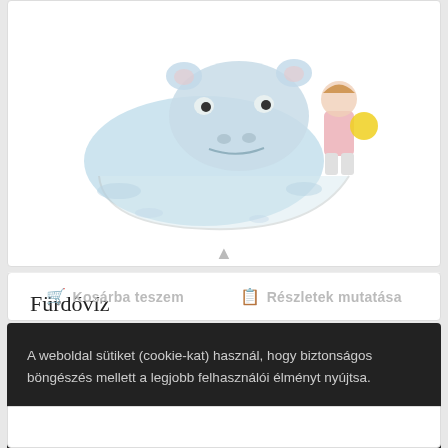[Figure (illustration): Children's book illustration showing a hippo in a bathtub and a child in rubber boots holding a yellow object, with water splash marks]
Fürdővíz
6 000 Ft
Kosárba teszem  Részletek mutatása
A weboldal sütiket (cookie-kat) használ, hogy biztonságos böngészés mellett a legjobb felhasználói élményt nyújtsa.
OK!  Üzenet elrejtése  Beállítások